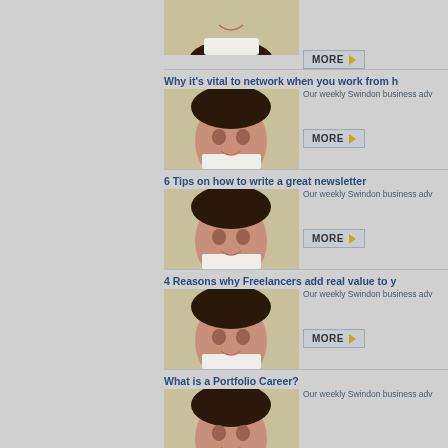[Figure (photo): Portrait photo of a smiling woman with dark hair against a light background, partially visible at top]
MORE ▶
Why it's vital to network when you work from h
Our weekly Swindon business adv
[Figure (photo): Portrait photo of a smiling woman with dark hair against a light background]
MORE ▶
6 Tips on how to write a great newsletter
Our weekly Swindon business adv
[Figure (photo): Portrait photo of a smiling woman with dark hair against a light background]
MORE ▶
4 Reasons why Freelancers add real value to y
Our weekly Swindon business adv
[Figure (photo): Portrait photo of a smiling woman with dark hair against a light background]
MORE ▶
What is a Portfolio Career?
Our weekly Swindon business adv
[Figure (photo): Portrait photo of a smiling woman with dark hair against a light background, partially cut off at bottom]